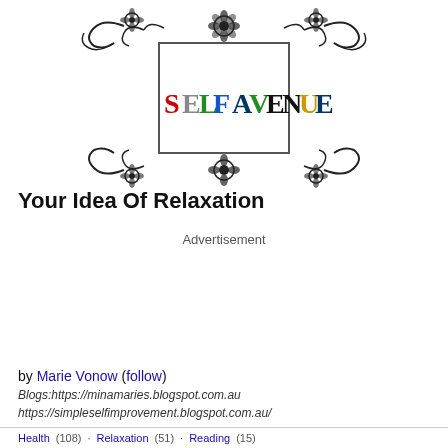[Figure (logo): Self Avenue decorative logo with ornate black scrollwork border and colorful lettering spelling SELF AVENUE]
Your Idea Of Relaxation
Advertisement
by Marie Vonow (follow)
Blogs:https://minamaries.blogspot.com.au
https://simpleselfimprovement.blogspot.com.au/
Health (108) · Relaxation (51) · Reading (15)